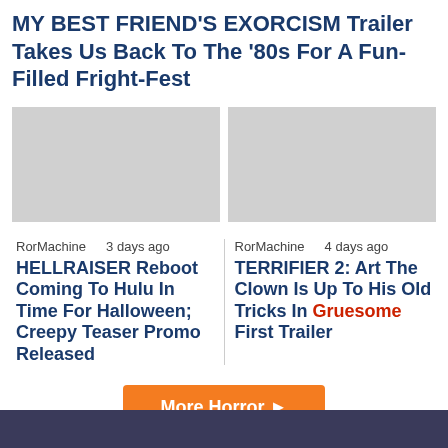MY BEST FRIEND'S EXORCISM Trailer Takes Us Back To The '80s For A Fun-Filled Fright-Fest
[Figure (photo): Two placeholder image thumbnails side by side]
RorMachine   3 days ago
RorMachine   4 days ago
HELLRAISER Reboot Coming To Hulu In Time For Halloween; Creepy Teaser Promo Released
TERRIFIER 2: Art The Clown Is Up To His Old Tricks In Gruesome First Trailer
More Horror ►
Anime & Manga News [AnimeMojo.com]
[Figure (photo): Bottom banner image strip]